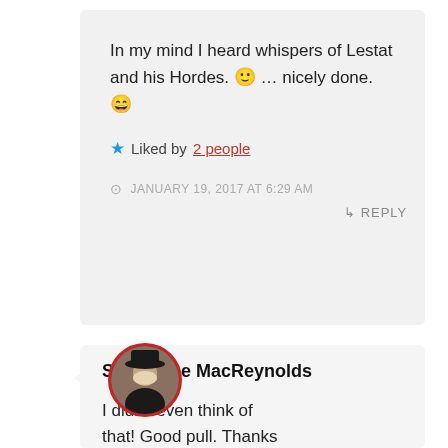In my mind I heard whispers of Lestat and his Hordes. 🙂 … nicely done. 😄
★ Liked by 2 people
JANUARY 19, 2017 AT 6:29 AM
↳ REPLY
Shayleene MacReynolds
I didn't even think of that! Good pull. Thanks